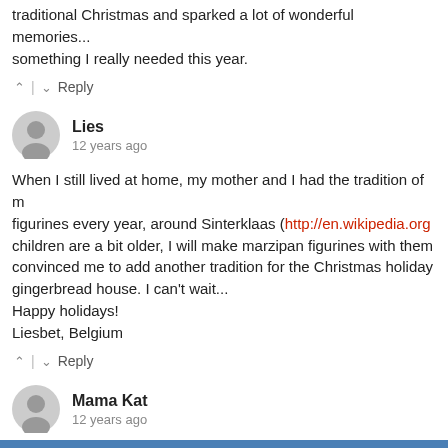traditional Christmas and sparked a lot of wonderful memories... something I really needed this year.
^ | v Reply
Lies
12 years ago
When I still lived at home, my mother and I had the tradition of making marzipan figurines every year, around Sinterklaas (http://en.wikipedia.org...). When my children are a bit older, I will make marzipan figurines with them too. You've convinced me to add another tradition for the Christmas holidays: making a gingerbread house. I can't wait...
Happy holidays!
Liesbet, Belgium
^ | v Reply
Mama Kat
12 years ago
What an amazing tradition! We never made gingerbread houses growing up and I've ALWAYS wanted one. I've been doing the store bought houses with my kids, but I'll definitely need to try it the WWW w...
^ | v Reply